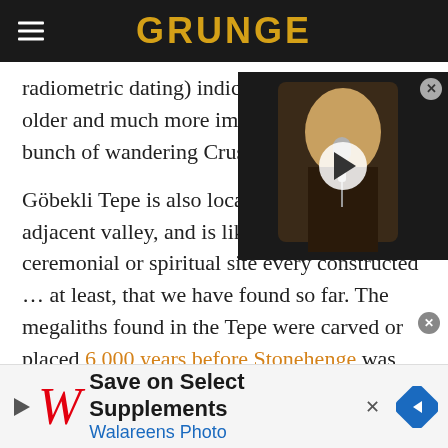GRUNGE
radiometric dating) indicated the site is far older and much more important than the bunch of wandering Crusaders
[Figure (screenshot): Video thumbnail showing a person singing into a microphone with a play button overlay]
Göbekli Tepe is also located on above the adjacent valley, and is likely the first ceremonial or spiritual site every constructed … at least, that we have found so far. The megaliths found in the Tepe were carved or placed 6,000 years before Stonehenge was assembled, and this was all done by a people that had yet to create metal tools or even pottery.
[Figure (screenshot): Advertisement: Save on Select Supplements — Walareens Photo]